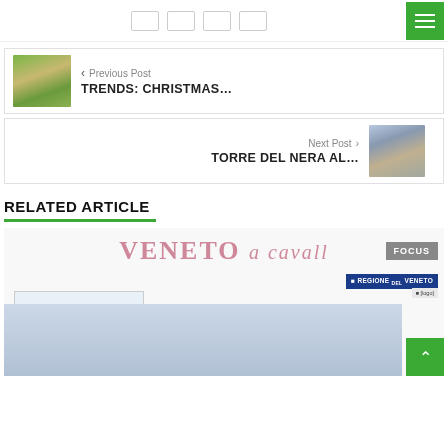Social share buttons and hamburger menu
< Previous Post
TRENDS: CHRISTMAS…
Next Post >
TORRE DEL NERA AL…
RELATED ARTICLE
[Figure (photo): Veneto a Cavalle magazine page with HGS horse green screen display and people in masks, with Regione del Veneto logo and FOCUS badge]